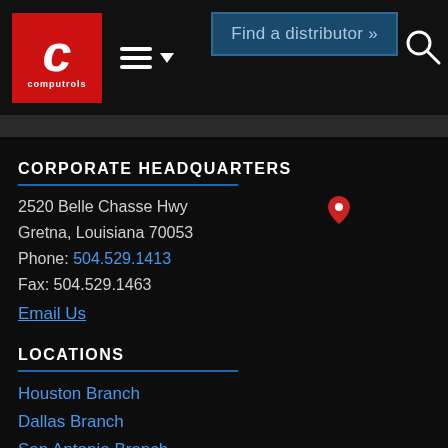[Figure (logo): Computrols logo — red square with white italic C, 'computrols' text below]
Find a distributor »
CORPORATE HEADQUARTERS
2520 Belle Chasse Hwy
Gretna, Louisiana 70053
Phone: 504.529.1413
Fax: 504.529.1463
Email Us
LOCATIONS
Houston Branch
Dallas Branch
San Antonio Branch
Washington D.C. Branch